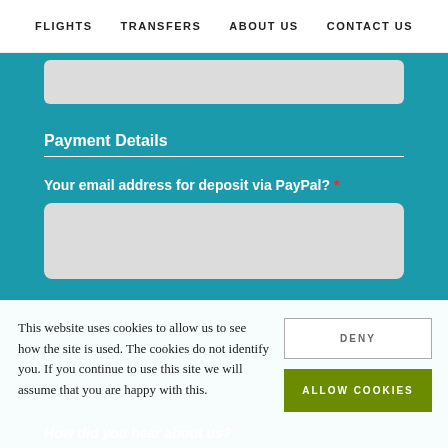FLIGHTS   TRANSFERS   ABOUT US   CONTACT US
Payment Details
Your email address for deposit via PayPal? *
This website uses cookies to allow us to see how the site is used. The cookies do not identify you. If you continue to use this site we will assume that you are happy with this.
DENY
ALLOW COOKIES
How did you hear about us? *